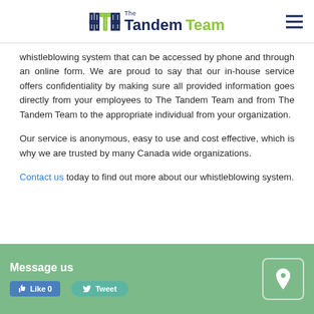The Tandem Team
whistleblowing system that can be accessed by phone and through an online form. We are proud to say that our in-house service offers confidentiality by making sure all provided information goes directly from your employees to The Tandem Team and from The Tandem Team to the appropriate individual from your organization.
Our service is anonymous, easy to use and cost effective, which is why we are trusted by many Canada wide organizations.
Contact us today to find out more about our whistleblowing system.
Message us  Like 0  Tweet